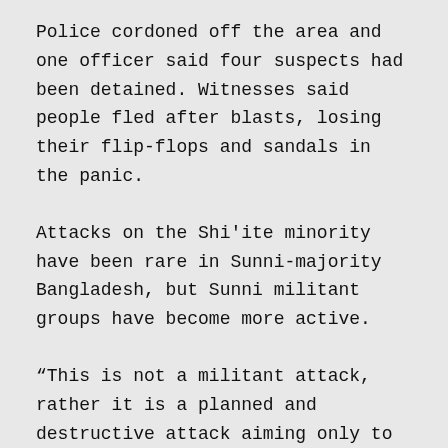Police cordoned off the area and one officer said four suspects had been detained. Witnesses said people fled after blasts, losing their flip-flops and sandals in the panic.
Attacks on the Shi'ite minority have been rare in Sunni-majority Bangladesh, but Sunni militant groups have become more active.
“This is not a militant attack, rather it is a planned and destructive attack aiming only to destabilize the situation of the country,” Interior Minister Asaduzzaman Khan told Reuters.
“Though the attack came hours after a suicide bombing